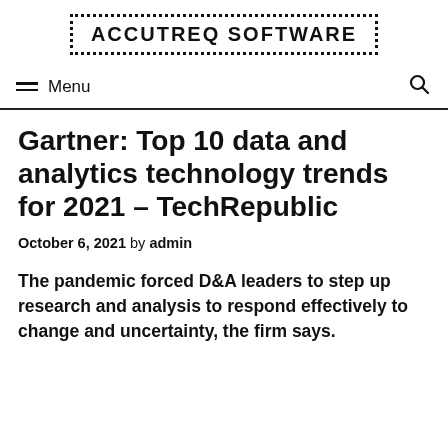ACCUTREQ SOFTWARE
Menu
Gartner: Top 10 data and analytics technology trends for 2021 – TechRepublic
October 6, 2021 by admin
The pandemic forced D&A leaders to step up research and analysis to respond effectively to change and uncertainty, the firm says.